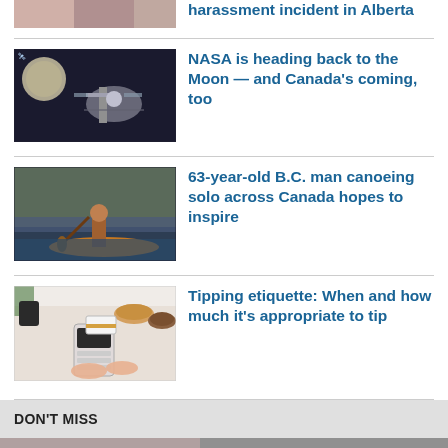[Figure (photo): Partial photo of a person at top of page (cropped)]
harassment incident in Alberta
[Figure (photo): NASA spacecraft near the moon illustration]
NASA is heading back to the Moon — and Canada's coming, too
[Figure (photo): 63-year-old man canoeing on a river]
63-year-old B.C. man canoeing solo across Canada hopes to inspire
[Figure (photo): Person using a payment terminal on a table with food]
Tipping etiquette: When and how much it's appropriate to tip
DON'T MISS
[Figure (photo): Partial photo at bottom of page (cropped)]